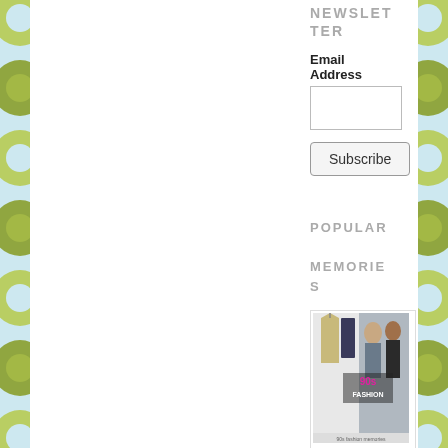[Figure (illustration): Decorative background pattern with olive/yellow-green and light blue circles/rings on left and right sides of the page]
NEWSLETTER
Email Address
POPULAR MEMORIES
[Figure (photo): Thumbnail image showing 90s fashion collage with text '90s FASHION' in pink/magenta on colorful clothing background]